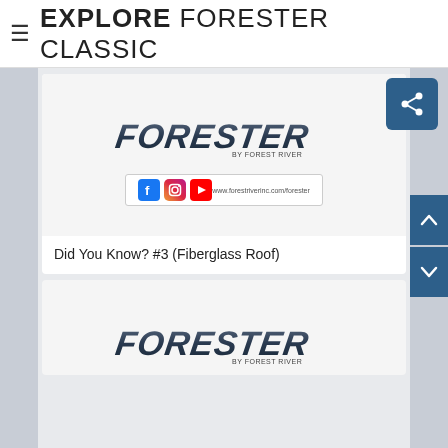≡ EXPLORE FORESTER CLASSIC
[Figure (logo): Forester by Forest River logo with social media icons (Facebook, Instagram, YouTube) and website URL www.forestriverinc.com/forester]
Did You Know? #3 (Fiberglass Roof)
[Figure (logo): Forester by Forest River logo (second card, partially visible)]